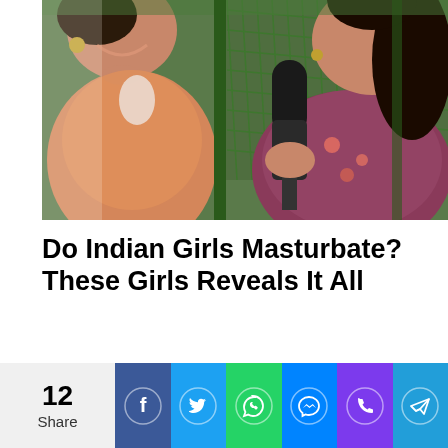[Figure (photo): Two women outdoors near a chain-link fence with green foliage. One woman in orange/coral clothing is laughing, the other in a patterned top is holding a microphone toward the first woman.]
Do Indian Girls Masturbate? These Girls Reveals It All
12 Share
[Figure (infographic): Social sharing bar with Facebook, Twitter, WhatsApp, Messenger, Phone, and Telegram buttons]